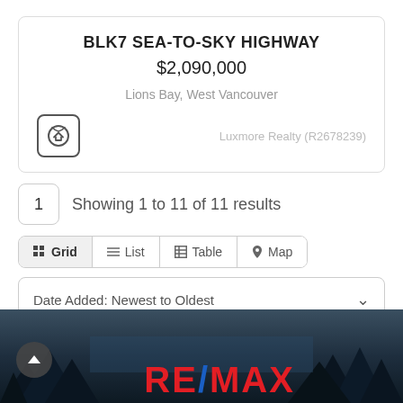BLK7 SEA-TO-SKY HIGHWAY
$2,090,000
Lions Bay, West Vancouver
Luxmore Realty (R2678239)
Showing 1 to 11 of 11 results
Grid | List | Table | Map
Date Added: Newest to Oldest
[Figure (screenshot): RE/MAX logo on dark background with trees silhouette]